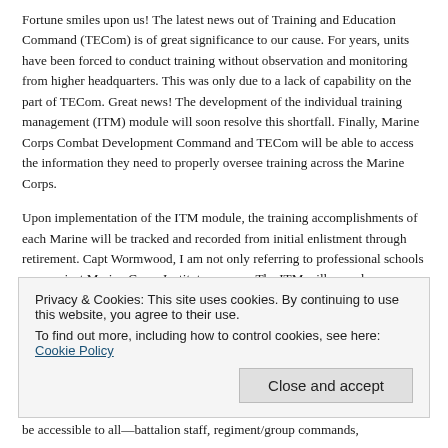Fortune smiles upon us! The latest news out of Training and Education Command (TECom) is of great significance to our cause. For years, units have been forced to conduct training without observation and monitoring from higher headquarters. This was only due to a lack of capability on the part of TECom. Great news! The development of the individual training management (ITM) module will soon resolve this shortfall. Finally, Marine Corps Combat Development Command and TECom will be able to access the information they need to properly oversee training across the Marine Corps.
Upon implementation of the ITM module, the training accomplishments of each Marine will be tracked and recorded from initial enlistment through retirement. Capt Wormwood, I am not only referring to professional schools or even just Marine Corps Institute courses. The ITM will record every collective training task, annual training event, and ancillary training requirement required of a Marine. Let me use an example to break it down for you. Take a motor transport operator who drives 7-tons, for instance. He has a number of required tasks in which he must demonstrate proficiency. In addition, he must
be accessible to all—battalion staff, regiment/group commands,
Privacy & Cookies: This site uses cookies. By continuing to use this website, you agree to their use.
To find out more, including how to control cookies, see here: Cookie Policy